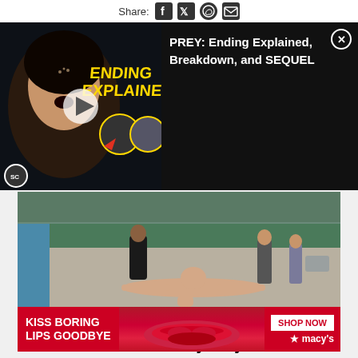Share: f  tw  whatsapp  mail
[Figure (screenshot): Video ad overlay: thumbnail showing movie 'PREY: Ending Explained, Breakdown, and SEQUEL' with SC logo and play button on left; black info panel on right with title text and close button]
[Figure (screenshot): Scene from Netflix series Perfume/Parfum showing a figure lying on the ground near a pool, with other people standing around]
Netflix Series Review: 'Perfume' ('Parfum') Is a Must-See Murder Mystery
Netflix original series Perfume / Parfum is designed to immerse you into a dark world of a twisted...
[Figure (screenshot): Macy's advertisement: 'KISS BORING LIPS GOODBYE' with SHOP NOW button and Macy's star logo on red background]